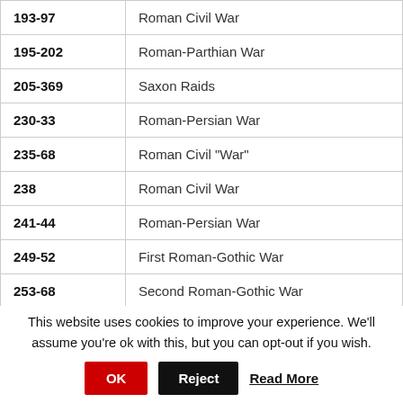| Date | Conflict |
| --- | --- |
| 193-97 | Roman Civil War |
| 195-202 | Roman-Parthian War |
| 205-369 | Saxon Raids |
| 230-33 | Roman-Persian War |
| 235-68 | Roman Civil "War" |
| 238 | Roman Civil War |
| 241-44 | Roman-Persian War |
| 249-52 | First Roman-Gothic War |
| 253-68 | Second Roman-Gothic War |
This website uses cookies to improve your experience. We'll assume you're ok with this, but you can opt-out if you wish.